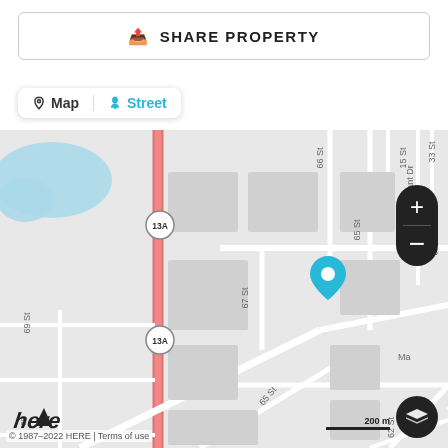SHARE PROPERTY
Map | Street
[Figure (map): Street map showing location pin on 65 St near 43 Ave, with route 13A visible. Streets labeled include 69 St, 67 St, 65 St, 63 St, 62 St, 43 Ave, 39 Ave, Mt Pleasant Dr, 66 St, 15 St, 33 St. Scale bar shows 200 m. HERE Maps attribution 1987-2022.]